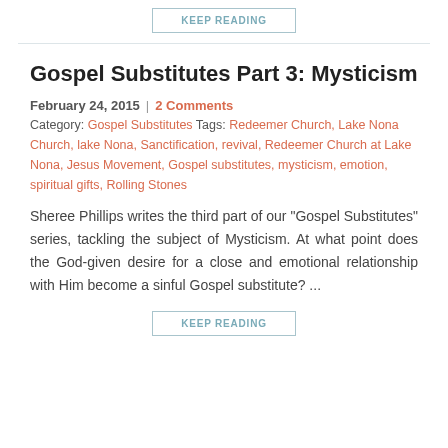KEEP READING
Gospel Substitutes Part 3: Mysticism
February 24, 2015 | 2 Comments Category: Gospel Substitutes Tags: Redeemer Church, Lake Nona Church, lake Nona, Sanctification, revival, Redeemer Church at Lake Nona, Jesus Movement, Gospel substitutes, mysticism, emotion, spiritual gifts, Rolling Stones
Sheree Phillips writes the third part of our "Gospel Substitutes" series, tackling the subject of Mysticism. At what point does the God-given desire for a close and emotional relationship with Him become a sinful Gospel substitute? ...
KEEP READING